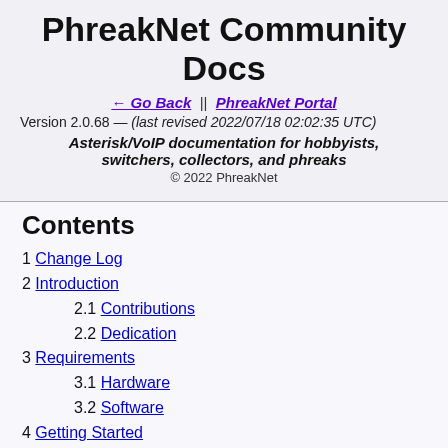PhreakNet Community Docs
← Go Back || PhreakNet Portal
Version 2.0.68 — (last revised 2022/07/18 02:02:35 UTC)
Asterisk/VoIP documentation for hobbyists, switchers, collectors, and phreaks
© 2022 PhreakNet
Contents
1 Change Log
2 Introduction
2.1 Contributions
2.2 Dedication
3 Requirements
3.1 Hardware
3.2 Software
4 Getting Started
4.1 Mastery
4.2 SSH